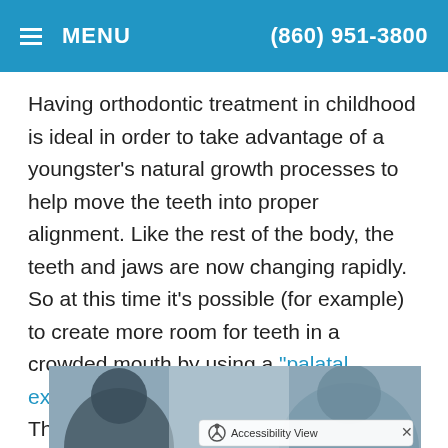MENU  (860) 951-3800
Having orthodontic treatment in childhood is ideal in order to take advantage of a youngster's natural growth processes to help move the teeth into proper alignment. Like the rest of the body, the teeth and jaws are now changing rapidly. So at this time it's possible (for example) to create more room for teeth in a crowded mouth by using a “palatal expander” to rapidly widen the upper jaw. This phase of growth modification can shorten overall treatment time and ensure the best result if additional orthodontic appliances are needed.
[Figure (photo): Two people in a dental/orthodontic consultation setting, with an Accessibility View toolbar overlay at the bottom right of the image.]